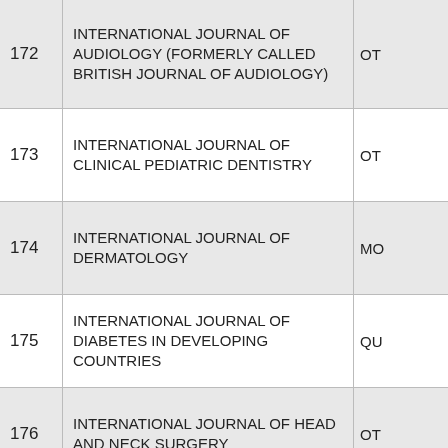| # | Journal Name | Category |
| --- | --- | --- |
| 172 | INTERNATIONAL JOURNAL OF AUDIOLOGY (FORMERLY CALLED BRITISH JOURNAL OF AUDIOLOGY) | OT... |
| 173 | INTERNATIONAL JOURNAL OF CLINICAL PEDIATRIC DENTISTRY | OT... |
| 174 | INTERNATIONAL JOURNAL OF DERMATOLOGY | MO... |
| 175 | INTERNATIONAL JOURNAL OF DIABETES IN DEVELOPING COUNTRIES | QU... |
| 176 | INTERNATIONAL JOURNAL OF HEAD AND NECK SURGERY | OT... |
| 177 | INTERNATIONAL JOURNAL OF INFERTILITY AND FETAL MEDICINE | OT... |
| 178 | INTERNATIONAL JOURNAL OF KNOWLEDGE MANAGEMENT | U... |